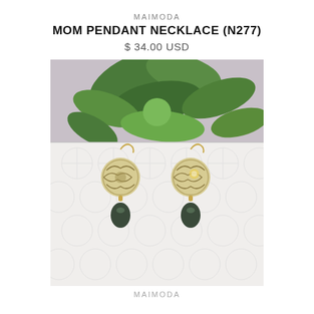MAIMODA
MOM PENDANT NECKLACE (N277)
$ 34.00 USD
[Figure (photo): Product photo showing two ornate filigree ball drop earrings with dark tahitian pearl drops, displayed against a white textured tile background with a succulent plant visible in the upper portion.]
MAIMODA